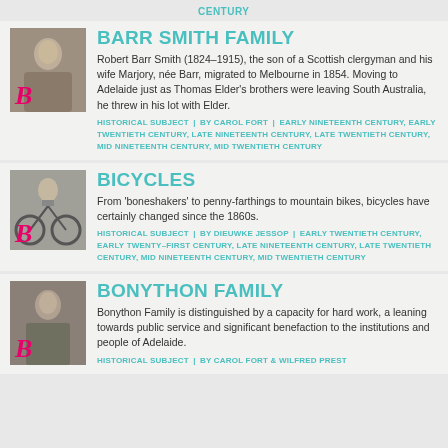CENTURY
BARR SMITH FAMILY
Robert Barr Smith (1824–1915), the son of a Scottish clergyman and his wife Marjory, née Barr, migrated to Melbourne in 1854. Moving to Adelaide just as Thomas Elder's brothers were leaving South Australia, he threw in his lot with Elder.
HISTORICAL SUBJECT  |  BY CAROL FORT  |  EARLY NINETEENTH CENTURY, EARLY TWENTIETH CENTURY, LATE NINETEENTH CENTURY, LATE TWENTIETH CENTURY, MID NINETEENTH CENTURY, MID TWENTIETH CENTURY
BICYCLES
From 'boneshakers' to penny-farthings to mountain bikes, bicycles have certainly changed since the 1860s.
HISTORICAL SUBJECT  |  BY DIEUWKE JESSOP  |  EARLY TWENTIETH CENTURY, EARLY TWENTY–FIRST CENTURY, LATE NINETEENTH CENTURY, LATE TWENTIETH CENTURY, MID NINETEENTH CENTURY, MID TWENTIETH CENTURY
BONYTHON FAMILY
Bonython Family is distinguished by a capacity for hard work, a leaning towards public service and significant benefaction to the institutions and people of Adelaide.
HISTORICAL SUBJECT  |  BY CAROL FORT & WILFRED PREST